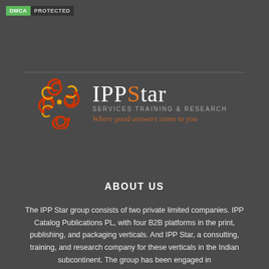[Figure (logo): DMCA Protected badge with green DMCA label and dark PROTECTED label]
[Figure (logo): IPPStar logo with circular orange/red/yellow swirl icon, large serif text 'IPPStar', subtitle 'Services Training & Research', italic tagline 'Where good answers come to you']
ABOUT US
The IPP Star group consists of two private limited companies. IPP Catalog Publications PL, with four B2B platforms in the print, publishing, and packaging verticals. And IPP Star, a consulting, training, and research company for these verticals in the Indian subcontinent. The group has been engaged in